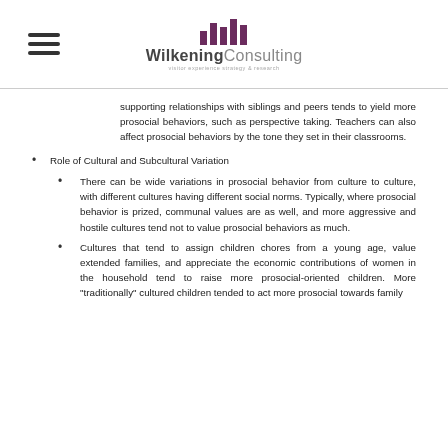WilkeningConsulting
supporting relationships with siblings and peers tends to yield more prosocial behaviors, such as perspective taking. Teachers can also affect prosocial behaviors by the tone they set in their classrooms.
Role of Cultural and Subcultural Variation
There can be wide variations in prosocial behavior from culture to culture, with different cultures having different social norms. Typically, where prosocial behavior is prized, communal values are as well, and more aggressive and hostile cultures tend not to value prosocial behaviors as much.
Cultures that tend to assign children chores from a young age, value extended families, and appreciate the economic contributions of women in the household tend to raise more prosocial-oriented children. More "traditionally" cultured children tended to act more prosocial towards family